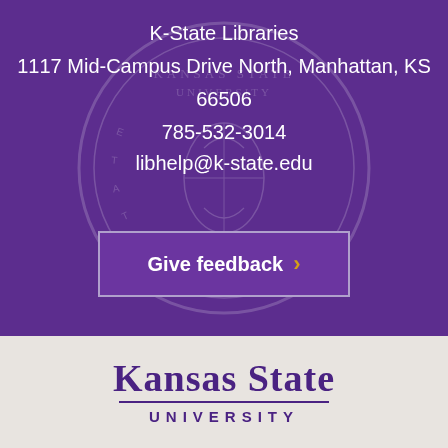K-State Libraries
1117 Mid-Campus Drive North, Manhattan, KS 66506
785-532-3014
libhelp@k-state.edu
[Figure (illustration): Kansas State University circular seal watermark in light purple on dark purple background]
Give feedback >
[Figure (logo): Kansas State University logo: large serif text 'Kansas State' with horizontal rule and 'UNIVERSITY' in spaced sans-serif below]